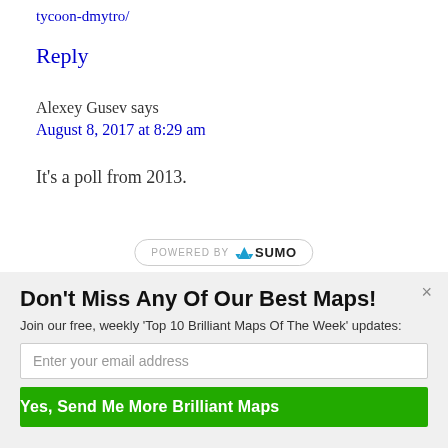tycoon-dmytro/
Reply
Alexey Gusev says
August 8, 2017 at 8:29 am
It's a poll from 2013.
Don't Miss Any Of Our Best Maps!
Join our free, weekly 'Top 10 Brilliant Maps Of The Week' updates:
Enter your email address
Yes, Send Me More Brilliant Maps